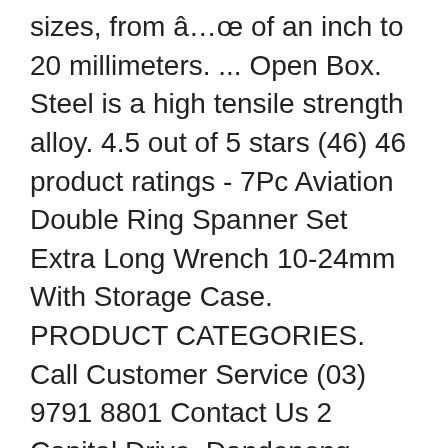sizes, from â…œ of an inch to 20 millimeters. ... Open Box. Steel is a high tensile strength alloy. 4.5 out of 5 stars (46) 46 product ratings - 7Pc Aviation Double Ring Spanner Set Extra Long Wrench 10-24mm With Storage Case. PRODUCT CATEGORIES. Call Customer Service (03) 9791 8801 Contact Us 2 Capital Drive, Dandenong, Victoria, Australia 3175. sales@toptulaustralia.com.au. Open end features Surface Drive Plus™, with reduced fastener rounding and up to 25% more torque. Combination Wrench Set, SAE, Long Pattern - 81921, Olsa Tools 5pc SAE Slim Profile Wrench Set | SAE Thin Wrench Set | Flat Wrench Set | Mechanics Professional Grade Thin Wrench Set